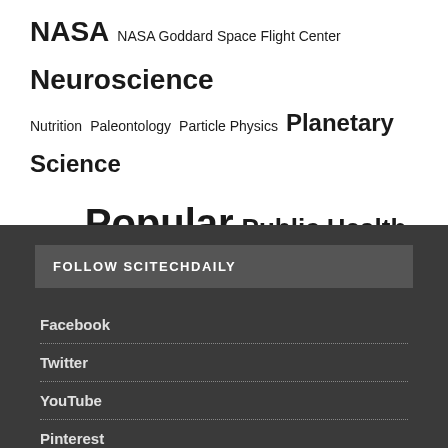NASA NASA Goddard Space Flight Center Neuroscience Nutrition Paleontology Particle Physics Planetary Science Planets Popular Public Health Quantum Physics Vaccine Virology Yale University
FOLLOW SCITECHDAILY
Facebook
Twitter
YouTube
Pinterest